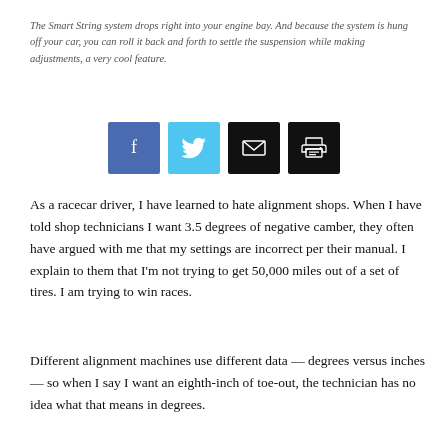The Smart String system drops right into your engine bay. And because the system is hung off your car, you can roll it back and forth to settle the suspension while making adjustments, a very cool feature.
[Figure (infographic): Four social sharing buttons: Facebook (blue), Twitter (light blue), Email (black), Print (black)]
As a racecar driver, I have learned to hate alignment shops. When I have told shop technicians I want 3.5 degrees of negative camber, they often have argued with me that my settings are incorrect per their manual. I explain to them that I'm not trying to get 50,000 miles out of a set of tires. I am trying to win races.
Different alignment machines use different data — degrees versus inches — so when I say I want an eighth-inch of toe-out, the technician has no idea what that means in degrees.